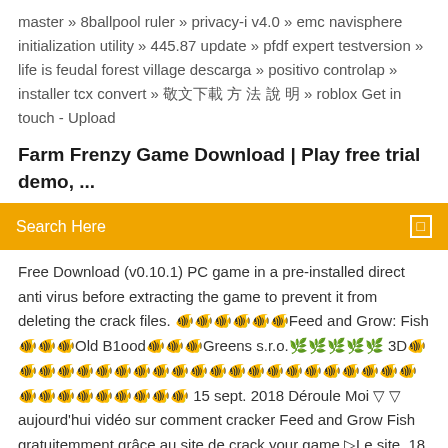master » 8ballpool ruler » privacy-i v4.0 » emc navisphere initialization utility » 445.87 update » pfdf expert testversion » life is feudal forest village descarga » positivo controlap » installer tcx convert » 워크샵 다운로드 방법 설명 » roblox Get in touch - Upload
Farm Frenzy Game Download | Play free trial demo, ...
Search Here
Free Download (v0.10.1) PC game in a pre-installed direct anti virus before extracting the game to prevent it from deleting the crack files. 🐟🐟🐟🐟🐟🐟Feed and Grow: Fish🐟🐟🐟Old B1ood🐟🐟🐟Greens s.r.o.🌿🌿🌿🌿🌿 3D🐠🐠🐠🐠🐠🐠🐠🐠🐠🐠🐠🐠🐠🐠🐠🐠🐠🐠🐠🐠🐠🐠🐠🐠🐠🐠🐠🐠🐠🐠🐠 15 sept. 2018 Déroule Moi ▽ ▽ aujourd'hui vidéo sur comment cracker Feed and Grow Fish gratuitemment grâce au site de crack your game ▷Le site  18 May 2016 Feed and Grow Fish Shark Update! (Let's Play Feed & Grow Fish Gameplay Patch 0.7.5 King of The Ocean - Duration: 17:19. Zueljin Gaming  Feed and Grow: Fish v0.10.0.63 Free Download PC Game in a pre-installed Direct